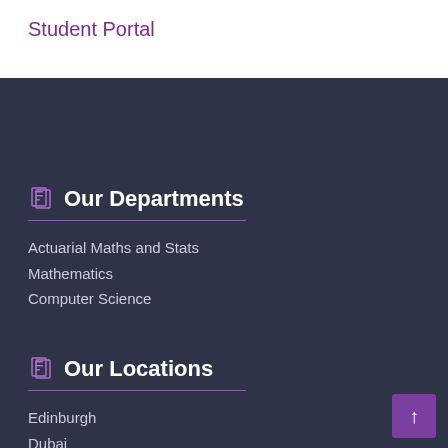Student Portal
Our Departments
Actuarial Maths and Stats
Mathematics
Computer Science
Our Locations
Edinburgh
Dubai
Malaysia
Approved Learning Partners
Quick Links